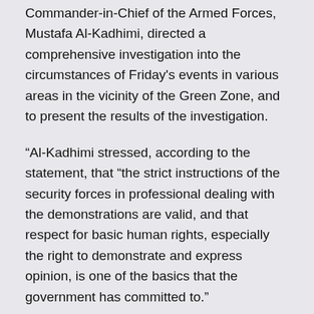Commander-in-Chief of the Armed Forces, Mustafa Al-Kadhimi, directed a comprehensive investigation into the circumstances of Friday's events in various areas in the vicinity of the Green Zone, and to present the results of the investigation.
“Al-Kadhimi stressed, according to the statement, that “the strict instructions of the security forces in professional dealing with the demonstrations are valid, and that respect for basic human rights, especially the right to demonstrate and express opinion, is one of the basics that the government has committed to.”
Al-Kadhimi called on the various political parties to calm down and resort to dialogue, while he called on the demonstrators to exercise their legitimate rights by adopting peace and avoiding violence in any form, level and